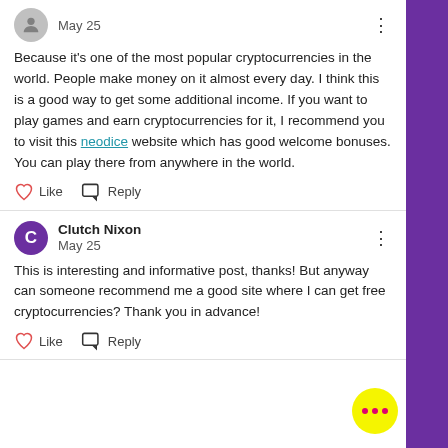May 25
Because it's one of the most popular cryptocurrencies in the world. People make money on it almost every day. I think this is a good way to get some additional income. If you want to play games and earn cryptocurrencies for it, I recommend you to visit this neodice website which has good welcome bonuses. You can play there from anywhere in the world.
Like   Reply
Clutch Nixon
May 25
This is interesting and informative post, thanks! But anyway can someone recommend me a good site where I can get free cryptocurrencies? Thank you in advance!
Like   Reply